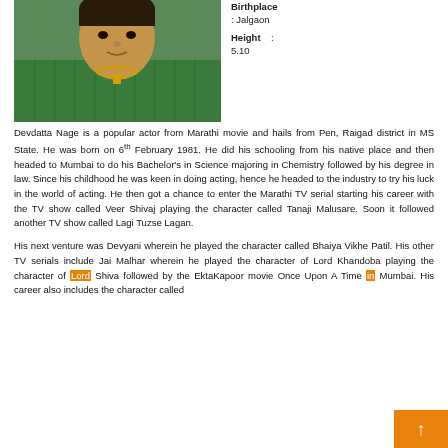[Figure (photo): Portrait photo of Devdatta Nage, a man wearing a green striped shirt and gold chain necklace.]
Birthplace : Jalgaon
Height : 5.10
Devdatta Nage is a popular actor from Marathi movie and hails from Pen, Raigad district in MS State. He was born on 6th February 1981. He did his schooling from his native place and then headed to Mumbai to do his Bachelor's in Science majoring in Chemistry followed by his degree in law. Since his childhood he was keen in doing acting, hence he headed to the industry to try his luck in the world of acting. He then got a chance to enter the Marathi TV serial starting his career with the TV show called Veer Shivaj playing the character called Tanaji Malusare. Soon it followed another TV show called Lagi Tuzse Lagan.
His next venture was Devyani wherein he played the character called Bhaiya Vikhe Patil. His other TV serials include Jai Malhar wherein he played the character of Lord Khandoba playing the character of Lord Shiva followed by the EktaKapoor movie Once Upon A Time in Mumbai. His career also includes the character called